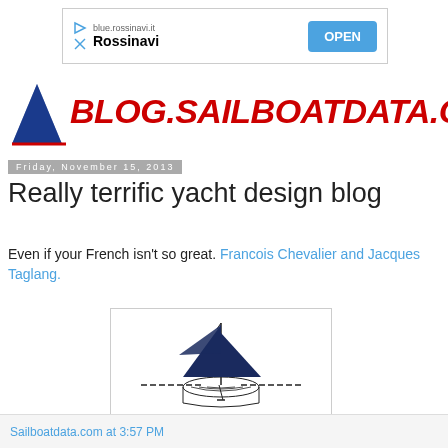[Figure (screenshot): Advertisement banner for blue.rossinavi.it - Rossinavi with OPEN button]
[Figure (logo): BLOG.SAILBOATDATA.COM logo with blue sailboat triangle on left and red bold italic text]
Friday, November 15, 2013
Really terrific yacht design blog
Even if your French isn't so great. Francois Chevalier and Jacques Taglang.
[Figure (illustration): Yacht/sailboat design diagram showing a sailing vessel with dark sails and hull cross-section view with waterline]
Sailboatdata.com at 3:57 PM